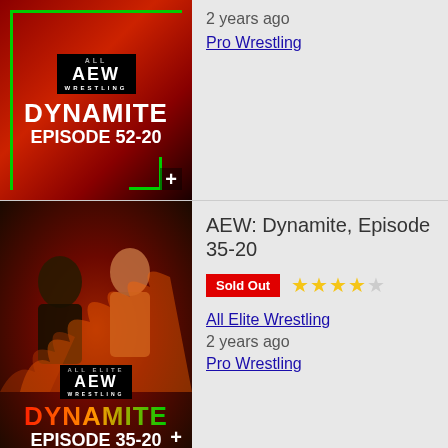[Figure (screenshot): AEW Dynamite Episode 52-20 thumbnail with red background, AEW logo, green bracket border overlay, plus icon]
2 years ago
Pro Wrestling
[Figure (screenshot): AEW Dynamite Episode 35-20 thumbnail with red/orange background, two wrestlers, AEW logo, colorful DYNAMITE text]
AEW: Dynamite, Episode 35-20
Sold Out
All Elite Wrestling
2 years ago
Pro Wrestling